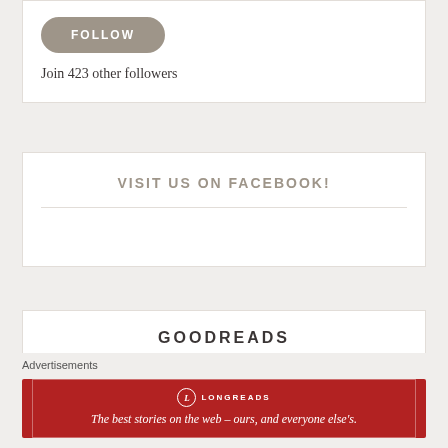[Figure (other): Follow button widget box with rounded pill-shaped button labeled FOLLOW and text below]
Join 423 other followers
VISIT US ON FACEBOOK!
GOODREADS
Advertisements
[Figure (other): Longreads advertisement banner in red with logo and tagline: The best stories on the web – ours, and everyone else's.]